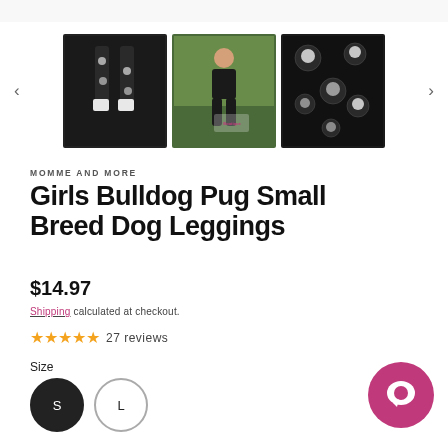[Figure (screenshot): Product thumbnail gallery showing three images of girls bulldog pug leggings: first image shows dark leggings with dog print on mannequin legs (selected/highlighted), second image shows a girl wearing the leggings outdoors with boutique watermark, third image shows close-up of the dog print fabric. Left and right navigation arrows flank the thumbnails.]
MOMME AND MORE
Girls Bulldog Pug Small Breed Dog Leggings
$14.97
Shipping calculated at checkout.
27 reviews
Size
S
L